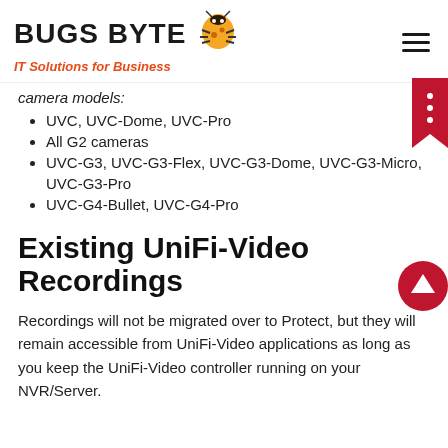BUGS BYTE IT Solutions for Business
camera models:
UVC, UVC-Dome, UVC-Pro
All G2 cameras
UVC-G3, UVC-G3-Flex, UVC-G3-Dome, UVC-G3-Micro, UVC-G3-Pro
UVC-G4-Bullet, UVC-G4-Pro
Existing UniFi-Video Recordings
Recordings will not be migrated over to Protect, but they will remain accessible from UniFi-Video applications as long as you keep the UniFi-Video controller running on your NVR/Server.